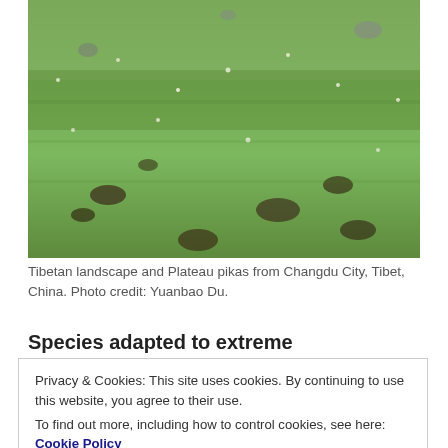[Figure (photo): Aerial view of a green Tibetan grassland landscape with holes/burrows visible in the ground, showing Plateau pikas habitat near Changdu City, Tibet, China.]
Tibetan landscape and Plateau pikas from Changdu City, Tibet, China. Photo credit: Yuanbao Du.
Species adapted to extreme environmental
Privacy & Cookies: This site uses cookies. By continuing to use this website, you agree to their use.
To find out more, including how to control cookies, see here: Cookie Policy
Close and accept
continuous change, physiological mechanisms with ontinuing to more conservation to and habitat